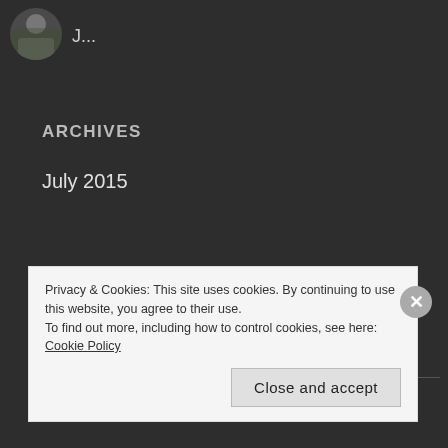[Figure (photo): Small circular avatar photo of a person, partially cropped]
J...
ARCHIVES
July 2015
CATEGORIES
Activities for Kids
Beauty
Privacy & Cookies: This site uses cookies. By continuing to use this website, you agree to their use. To find out more, including how to control cookies, see here: Cookie Policy
Close and accept